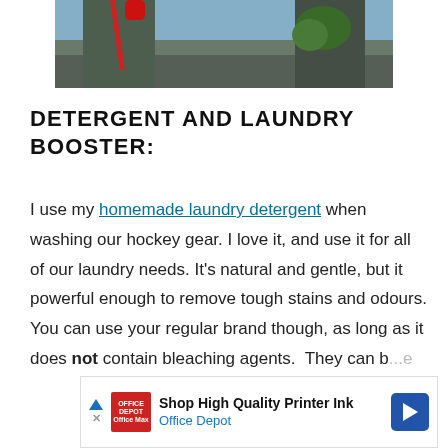[Figure (photo): Partial photo of a person outdoors holding a red rope/leash, with trees and blue sky in the background]
DETERGENT AND LAUNDRY BOOSTER:
I use my homemade laundry detergent when washing our hockey gear. I love it, and use it for all of our laundry needs. It's natural and gentle, but it powerful enough to remove tough stains and odours. You can use your regular brand though, as long as it does not contain bleaching agents. They can b...e
[Figure (screenshot): Advertisement banner: Shop High Quality Printer Ink - Office Depot, with red Office Depot logo and blue navigation arrow icon]